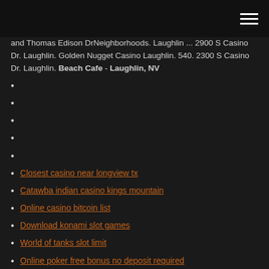menu
and Thomas Edison DrNeighborhoods. Laughlin ... 2900 S Casino Dr. Laughlin. Golden Nugget Casino Laughlin. 540. 2300 S Casino Dr. Laughlin. Beach Cafe - Laughlin, NV
Closest casino near longview tx
Catawba indian casino kings mountain
Online casino bitcoin list
Download konami slot games
World of tanks slot limit
Online poker free bonus no deposit required